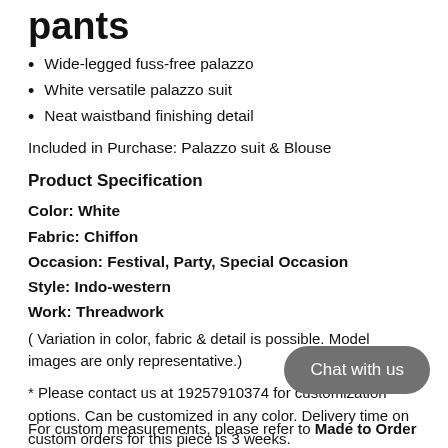pants
Wide-legged fuss-free palazzo
White versatile palazzo suit
Neat waistband finishing detail
Included in Purchase: Palazzo suit & Blouse
Product Specification
Color: White
Fabric: Chiffon
Occasion: Festival, Party, Special Occasion
Style: Indo-western
Work: Threadwork
( Variation in color, fabric & detail is possible. Model images are only representative.)
* Please contact us at 19257910374 for customization options. Can be customized in any color. Delivery time on custom orders for this piece is 3 weeks.
Chat with us
For custom measurements, please refer to Made to Order